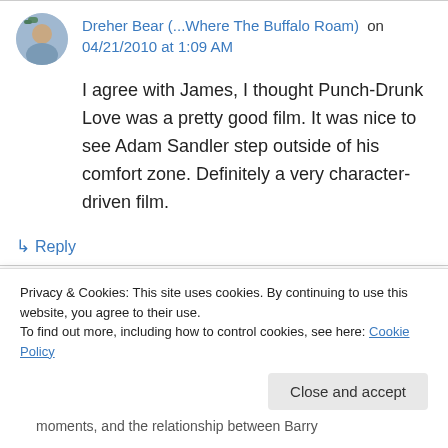Dreher Bear (...Where The Buffalo Roam) on 04/21/2010 at 1:09 AM
I agree with James, I thought Punch-Drunk Love was a pretty good film. It was nice to see Adam Sandler step outside of his comfort zone. Definitely a very character-driven film.
↳ Reply
Privacy & Cookies: This site uses cookies. By continuing to use this website, you agree to their use. To find out more, including how to control cookies, see here: Cookie Policy
Close and accept
moments, and the relationship between Barry